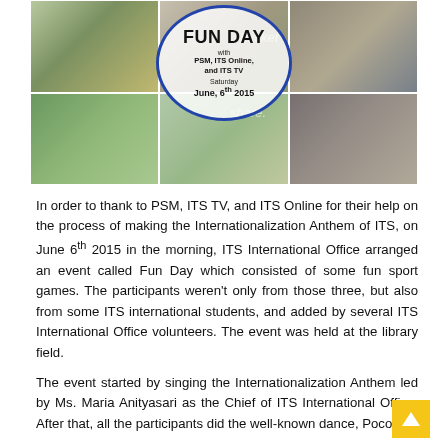[Figure (photo): Collage of photos from Fun Day event on June 6th 2015, showing students and participants playing outdoor sports and activities. Center circle overlay reads: FUN DAY with PSM, ITS Online, and ITS TV, Saturday June 6th 2015.]
In order to thank to PSM, ITS TV, and ITS Online for their help on the process of making the Internationalization Anthem of ITS, on June 6th 2015 in the morning, ITS International Office arranged an event called Fun Day which consisted of some fun sport games. The participants weren't only from those three, but also from some ITS international students, and added by several ITS International Office volunteers. The event was held at the library field.
The event started by singing the Internationalization Anthem led by Ms. Maria Anityasari as the Chief of ITS International Office. After that, all the participants did the well-known dance, Poco-